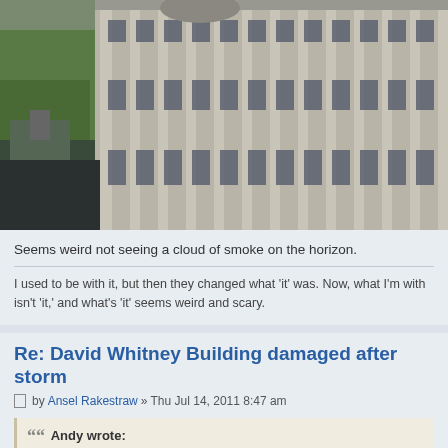[Figure (photo): Aerial view of a large concrete industrial or civic building with vertical pillars, multiple rows of windows, and a stadium/industrial area visible to the left with green trees on the horizon.]
Seems weird not seeing a cloud of smoke on the horizon.
I used to be with it, but then they changed what 'it' was. Now, what I'm with isn't 'it,' and what's 'it' seems weird and scary.
Re: David Whitney Building damaged after storm
by Ansel Rakestraw » Thu Jul 14, 2011 8:47 am
Andy wrote: Take that skeptic! Detroit wins!